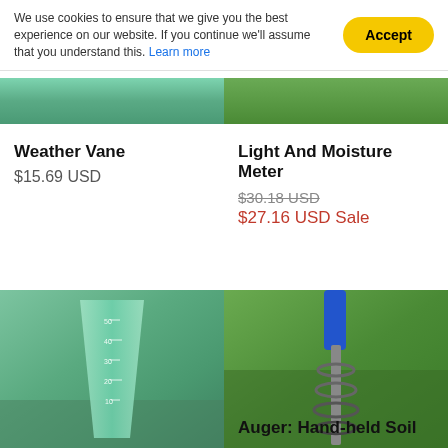We use cookies to ensure that we give you the best experience on our website. If you continue we'll assume that you understand this. Learn more
[Figure (photo): Partial top of Weather Vane product image showing green/teal background]
[Figure (photo): Partial top of Light And Moisture Meter product image showing green grass background]
Weather Vane
$15.69 USD
Light And Moisture Meter
$30.18 USD
$27.16 USD Sale
[Figure (photo): Photo of a green conical rain gauge held in a hand against a grassy field background]
[Figure (photo): Photo of a blue-handled hand-held soil auger drill bit on grass]
Auger: Hand-held Soil